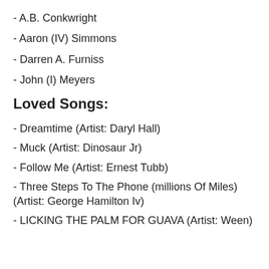- A.B. Conkwright
- Aaron (IV) Simmons
- Darren A. Furniss
- John (I) Meyers
Loved Songs:
- Dreamtime (Artist: Daryl Hall)
- Muck (Artist: Dinosaur Jr)
- Follow Me (Artist: Ernest Tubb)
- Three Steps To The Phone (millions Of Miles) (Artist: George Hamilton Iv)
- LICKING THE PALM FOR GUAVA (Artist: Ween)